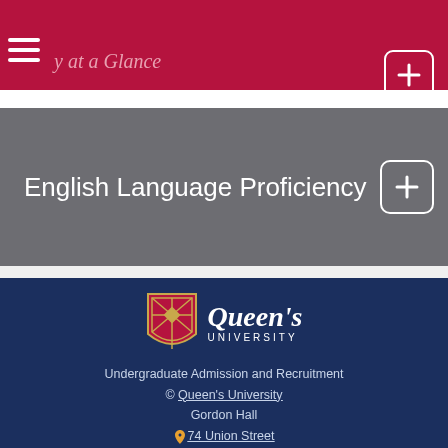Queen's University – Undergraduate Admission and Recruitment
English Language Proficiency
[Figure (logo): Queen's University logo with shield and wordmark]
Undergraduate Admission and Recruitment
© Queen's University
Gordon Hall
74 Union Street
Kingston, Ontario, Canada K7L 3N6